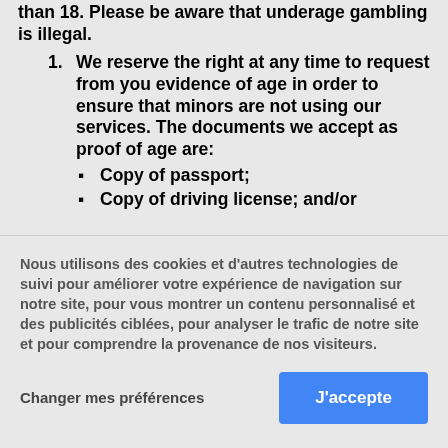than 18. Please be aware that underage gambling is illegal.
1. We reserve the right at any time to request from you evidence of age in order to ensure that minors are not using our services. The documents we accept as proof of age are:
Copy of passport;
Copy of driving license; and/or
Nous utilisons des cookies et d'autres technologies de suivi pour améliorer votre expérience de navigation sur notre site, pour vous montrer un contenu personnalisé et des publicités ciblées, pour analyser le trafic de notre site et pour comprendre la provenance de nos visiteurs.
Changer mes préférences
J'accepte